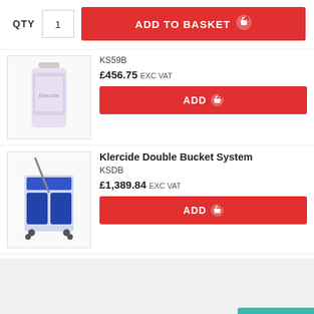QTY  1  ADD TO BASKET
KS59B
£456.75 EXC VAT
ADD
Klercide Double Bucket System
KSDB
£1,389.84 EXC VAT
ADD
You May Also like